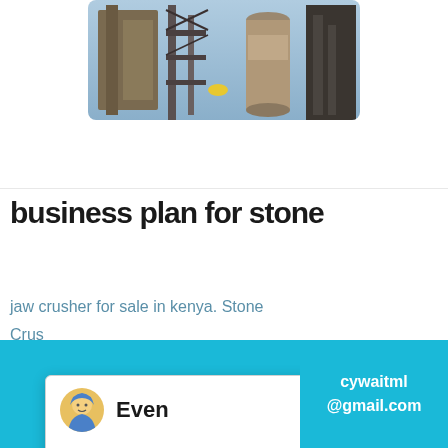[Figure (photo): Industrial stone crusher machinery equipment, metal structures and silos visible]
business plan for stone
jaw crusher for sale in kenya. Stone Crusher Kenya Portable Crusher 250tph quarry crusher sale in Kenya. Quarry crushing machine the Jaw stone! Solutions Just Right for You production line; Hot Products; A common
[Figure (screenshot): Chat popup with avatar of agent named 'Even', close button X, message: Hello, I am Even, I am very glad to talk with you!]
Even
Hello, I am Even, I am very glad to talk with you!
1
Click me to chat >>
Enquiry
Chat Online
cywaitml@gmail.com